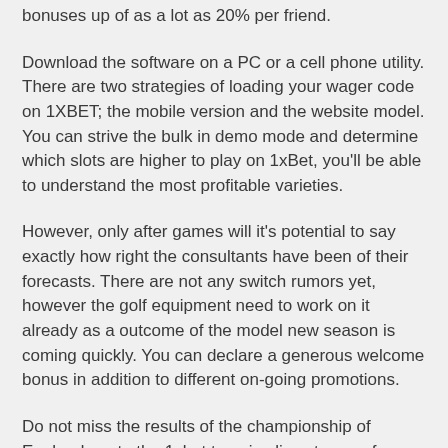bonuses up of as a lot as 20% per friend.
Download the software on a PC or a cell phone utility. There are two strategies of loading your wager code on 1XBET; the mobile version and the website model. You can strive the bulk in demo mode and determine which slots are higher to play on 1xBet, you'll be able to understand the most profitable varieties.
However, only after games will it's potential to say exactly how right the consultants have been of their forecasts. There are not any switch rumors yet, however the golf equipment need to work on it already as a outcome of the model new season is coming quickly. You can declare a generous welcome bonus in addition to different on-going promotions.
Do not miss the results of the championship of England, go to the 1xbet to enjoy live stream of football matches, watch the video games and place bets. The new bettors can receive a worthwhile promo provide in the form of a freebet or double deposit. You can place bets on huge